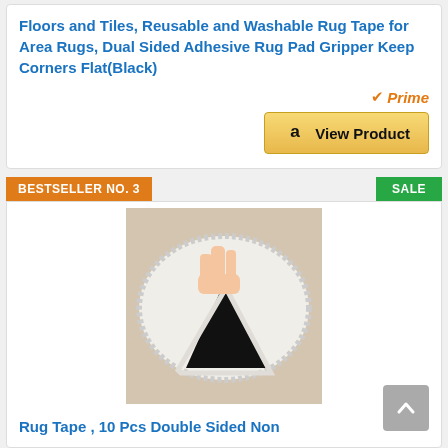Floors and Tiles, Reusable and Washable Rug Tape for Area Rugs, Dual Sided Adhesive Rug Pad Gripper Keep Corners Flat(Black)
[Figure (logo): Amazon Prime badge and View Product button]
BESTSELLER NO. 3
SALE
[Figure (photo): Product photo showing a hand peeling a black triangular rug gripper pad from the corner of a white rug on a wooden floor]
Rug Tape , 10 Pcs Double Sided Non